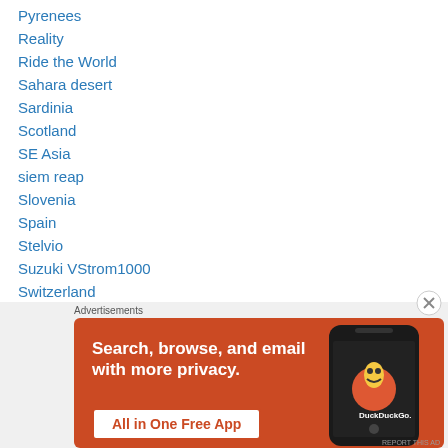Pyrenees
Reality
Ride the World
Sahara desert
Sardinia
Scotland
SE Asia
siem reap
Slovenia
Spain
Stelvio
Suzuki VStrom1000
Switzerland
Ted Simon
[Figure (screenshot): DuckDuckGo advertisement banner: orange background with text 'Search, browse, and email with more privacy. All in One Free App' and image of a phone with DuckDuckGo logo]